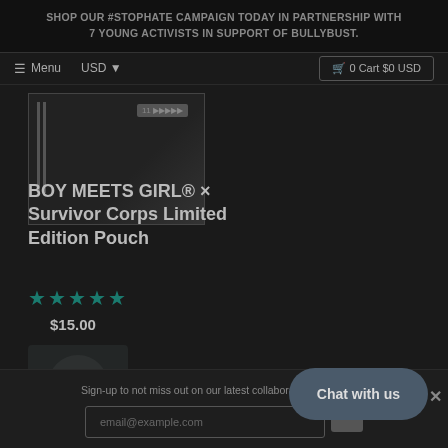SHOP OUR #STOPHATE CAMPAIGN TODAY IN PARTNERSHIP WITH 7 YOUNG ACTIVISTS IN SUPPORT OF BULLYBUST.
Menu  USD  0 Cart $0 USD
[Figure (photo): Product image of pouch, dark background with vertical stripes on left side and small label in upper right]
BOY MEETS GIRL® × Survivor Corps Limited Edition Pouch
★★★★★
$15.00
Sign-up to not miss out on our latest collaborations and more.
email@example.com
Chat with us